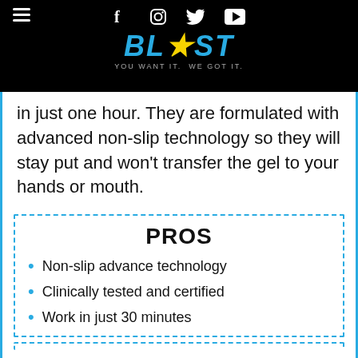BLAST - YOU WANT IT. WE GOT IT.
in just one hour. They are formulated with advanced non-slip technology so they will stay put and won't transfer the gel to your hands or mouth.
PROS
Non-slip advance technology
Clinically tested and certified
Work in just 30 minutes